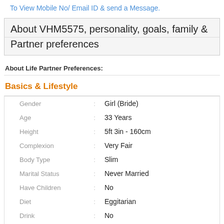To View Mobile No/ Email ID & send a Message.
About VHM5575, personality, goals, family & Partner preferences
About Life Partner Preferences:
Basics & Lifestyle
|  |  |  |
| --- | --- | --- |
| Gender | : | Girl (Bride) |
| Age | : | 33 Years |
| Height | : | 5ft 3in - 160cm |
| Complexion | : | Very Fair |
| Body Type | : | Slim |
| Marital Status | : | Never Married |
| Have Children | : | No |
| Diet | : | Eggitarian |
| Drink | : | No |
| Smoke | : | No |